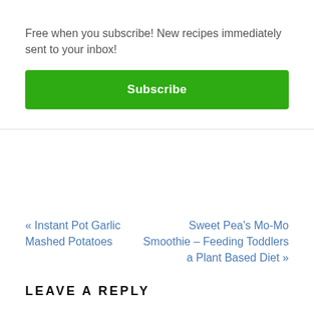Free when you subscribe! New recipes immediately sent to your inbox!
Subscribe
« Instant Pot Garlic Mashed Potatoes
Sweet Pea's Mo-Mo Smoothie – Feeding Toddlers a Plant Based Diet »
LEAVE A REPLY